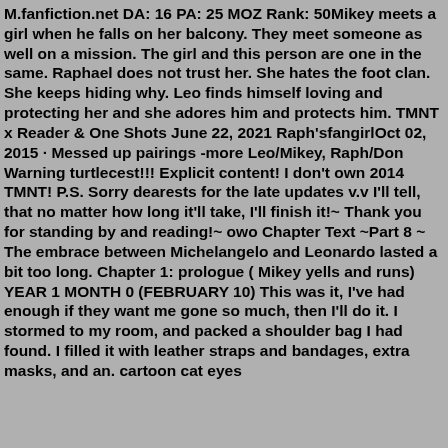M.fanfiction.net DA: 16 PA: 25 MOZ Rank: 50Mikey meets a girl when he falls on her balcony. They meet someone as well on a mission. The girl and this person are one in the same. Raphael does not trust her. She hates the foot clan. She keeps hiding why. Leo finds himself loving and protecting her and she adores him and protects him. TMNT x Reader & One Shots June 22, 2021 Raph'sfangirlOct 02, 2015 · Messed up pairings -more Leo/Mikey, Raph/Don Warning turtlecest!!! Explicit content! I don't own 2014 TMNT! P.S. Sorry dearests for the late updates v.v I'll tell, that no matter how long it'll take, I'll finish it!~ Thank you for standing by and reading!~ owo Chapter Text ~Part 8 ~ The embrace between Michelangelo and Leonardo lasted a bit too long. Chapter 1: prologue ( Mikey yells and runs) YEAR 1 MONTH 0 (FEBRUARY 10) This was it, I've had enough if they want me gone so much, then I'll do it. I stormed to my room, and packed a shoulder bag I had found. I filled it with leather straps and bandages, extra masks, and an. cartoon cat eyes